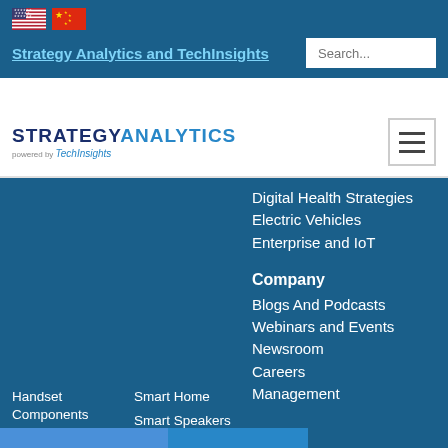[Figure (screenshot): US flag icon]
[Figure (screenshot): China flag icon]
Strategy Analytics and TechInsights
[Figure (logo): Strategy Analytics powered by TechInsights logo with hamburger menu button]
Digital Health Strategies
Electric Vehicles
Enterprise and IoT
Company
Blogs And Podcasts
Webinars and Events
Newsroom
Careers
Management
Handset Components
In Vehicle UX
Infotainment and Telematics
Metaverse Augmented and
Smart Home
Smart Speakers and Screens
Smartphone Country Share
Smartphone Model Tracker